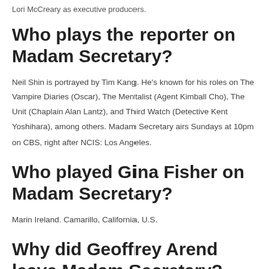Lori McCreary as executive producers.
Who plays the reporter on Madam Secretary?
Neil Shin is portrayed by Tim Kang. He's known for his roles on The Vampire Diaries (Oscar), The Mentalist (Agent Kimball Cho), The Unit (Chaplain Alan Lantz), and Third Watch (Detective Kent Yoshihara), among others. Madam Secretary airs Sundays at 10pm on CBS, right after NCIS: Los Angeles.
Who played Gina Fisher on Madam Secretary?
Marin Ireland. Camarillo, California, U.S.
Why did Geoffrey Arend leave Madam Secretary?